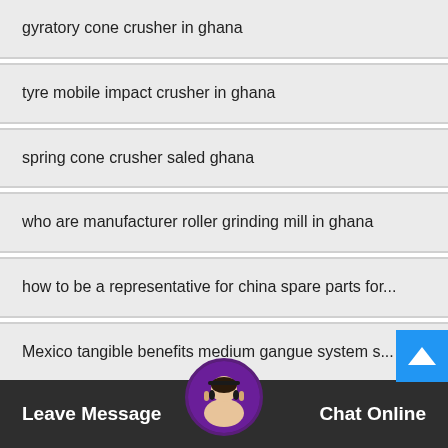gyratory cone crusher in ghana
tyre mobile impact crusher in ghana
spring cone crusher saled ghana
who are manufacturer roller grinding mill in ghana
how to be a representative for china spare parts for...
Mexico tangible benefits medium gangue system s...
high quality new barite raymond mill sell in Tunisia
crusher ci9ju6gy china
Leave Message
Chat Online